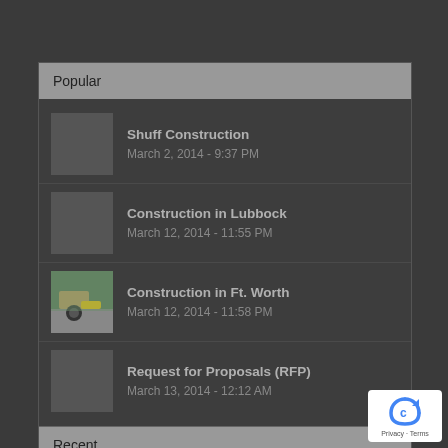Popular
Shuff Construction
March 2, 2014 - 9:37 PM
Construction in Lubbock
March 12, 2014 - 11:55 PM
Construction in Ft. Worth
March 12, 2014 - 11:58 PM
Request for Proposals (RFP)
March 13, 2014 - 12:12 AM
Recent
Comments
Tags
[Figure (logo): reCAPTCHA badge with Privacy and Terms links]